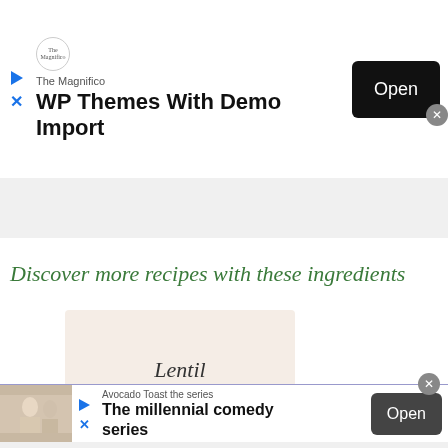[Figure (screenshot): Top app install ad banner: The Magnifico – WP Themes With Demo Import, with Open button]
[Figure (screenshot): Gray content placeholder bar below top ad]
Discover more recipes with these ingredients
[Figure (photo): Lentil ingredient card showing the word Lentil on a light beige background]
[Figure (screenshot): Bottom app install ad: Avocado Toast the series – The millennial comedy series, with Open button]